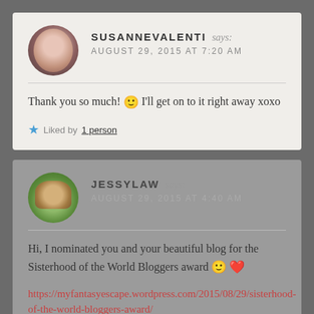SUSANNEVALENTI says: AUGUST 29, 2015 AT 7:20 AM
Thank you so much! 🙂 I'll get on to it right away xoxo
Liked by 1 person
JESSYLAW says: AUGUST 29, 2015 AT 4:40 AM
Hi, I nominated you and your beautiful blog for the Sisterhood of the World Bloggers award 🙂 ❤
https://myfantasyescape.wordpress.com/2015/08/29/sisterhood-of-the-world-bloggers-award/
Liked by 1 person